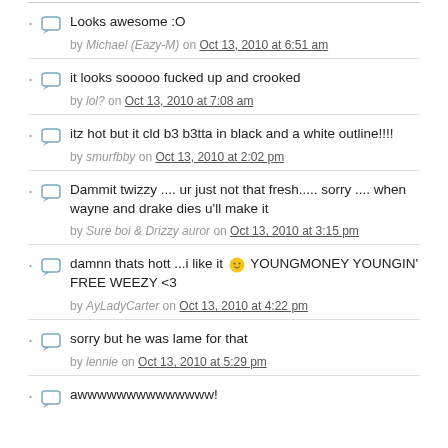Looks awesome :O
by Michael (Eazy-M) on Oct 13, 2010 at 6:51 am
it looks sooooo fucked up and crooked
by lol? on Oct 13, 2010 at 7:08 am
itz hot but it cld b3 b3tta in black and a white outline!!!!
by smurfbby on Oct 13, 2010 at 2:02 pm
Dammit twizzy .... ur just not that fresh..... sorry .... when wayne and drake dies u'll make it
by Sure boi & Drizzy auror on Oct 13, 2010 at 3:15 pm
damnn thats hott ...i like it 🙂 YOUNGMONEY YOUNGIN' FREE WEEZY <3
by AyLadyCarter on Oct 13, 2010 at 4:22 pm
sorry but he was lame for that
by lennie on Oct 13, 2010 at 5:29 pm
awwwwwwwwwwwwww!